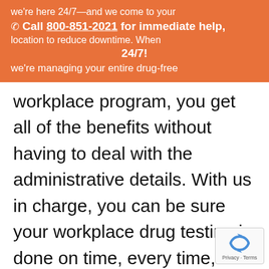we're here 24/7—and we come to your location to reduce downtime. When 24/7! Call 800-851-2021 for immediate help, we're managing your entire drug-free
workplace program, you get all of the benefits without having to deal with the administrative details. With us in charge, you can be sure your workplace drug testing is done on time, every time, no matter where your staff are or when you need them tested.
[Figure (other): reCAPTCHA badge with recycling-arrow logo and Privacy · Terms links]